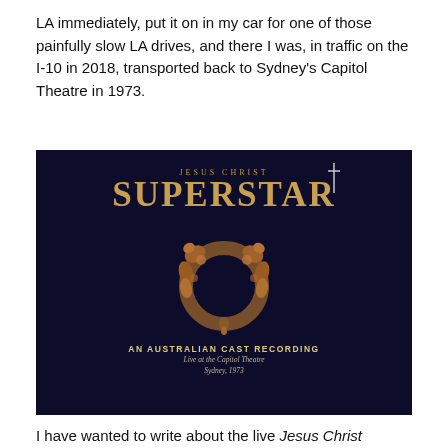LA immediately, put it on in my car for one of those painfully slow LA drives, and there I was, in traffic on the I-10 in 2018, transported back to Sydney's Capitol Theatre in 1973.
[Figure (photo): Album cover for Jesus Christ Superstar - An Australian Cast Recording, Live at the Capitol Theatre, Sydney, 1973. Dark navy/black background with gold/bronze text and a decorative bronze door-knocker style emblem showing two serpentine figures forming a circle.]
I have wanted to write about the live Jesus Christ